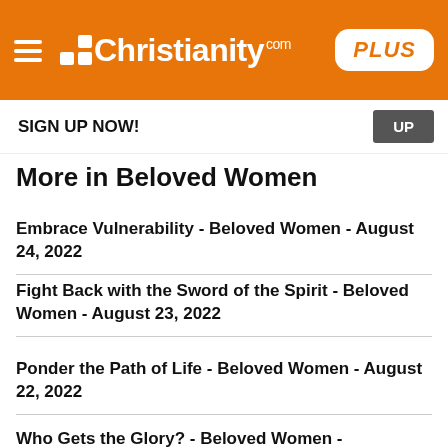Christianity.com PLUS
SIGN UP NOW! UP
More in Beloved Women
Embrace Vulnerability - Beloved Women - August 24, 2022
Fight Back with the Sword of the Spirit - Beloved Women - August 23, 2022
Ponder the Path of Life - Beloved Women - August 22, 2022
Who Gets the Glory? - Beloved Women -